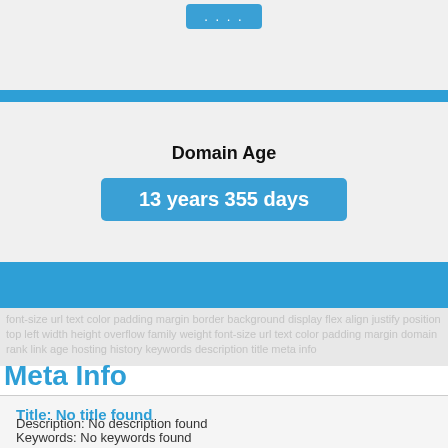[Figure (screenshot): Dots button (ellipsis) in a blue rounded rectangle at the top of a widget]
Domain Age
13 years 355 days
Meta Info
Title: No title found
Description: No description found
Keywords: No keywords found